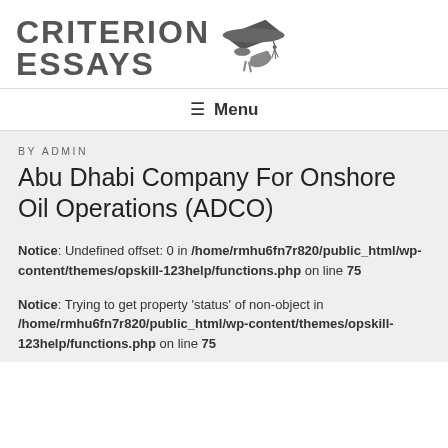CRITERION ESSAYS
≡  Menu
BY ADMIN
Abu Dhabi Company For Onshore Oil Operations (ADCO)
Notice: Undefined offset: 0 in /home/rmhu6fn7r820/public_html/wp-content/themes/opskill-123help/functions.php on line 75
Notice: Trying to get property 'status' of non-object in /home/rmhu6fn7r820/public_html/wp-content/themes/opskill-123help/functions.php on line 75